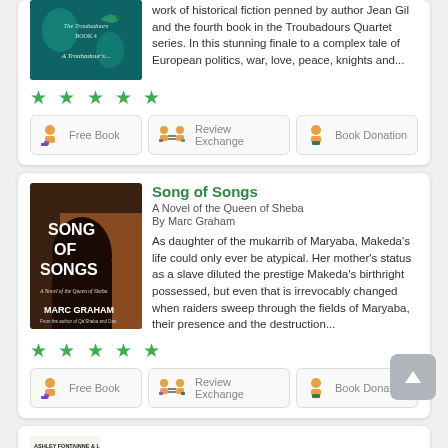[Figure (illustration): Book cover for The Troubadours Book 4, teal/dark cover with stylized text and lizard motif (partial, top cropped)]
work of historical fiction penned by author Jean Gil and the fourth book in the Troubadours Quartet series. In this stunning finale to a complex tale of European politics, war, love, peace, knights and...
★ ★ ★ ★ ★
Free Book
Review Exchange
Book Donation
Song of Songs
A Novel of the Queen of Sheba
By Marc Graham
[Figure (illustration): Book cover for Song of Songs by Marc Graham - dark brown background with silhouette of woman's profile, title in white bold text]
As daughter of the mukarrib of Maryaba, Makeda's life could only ever be atypical. Her mother's status as a slave diluted the prestige Makeda's birthright possessed, but even that is irrevocably changed when raiders sweep through the fields of Maryaba, their presence and the destruction...
★ ★ ★ ★ ★
Free Book
Review Exchange
Book Donation
Surviving Doodahville
ASHLEY FONTAINNE & LILLIAN HANSEN